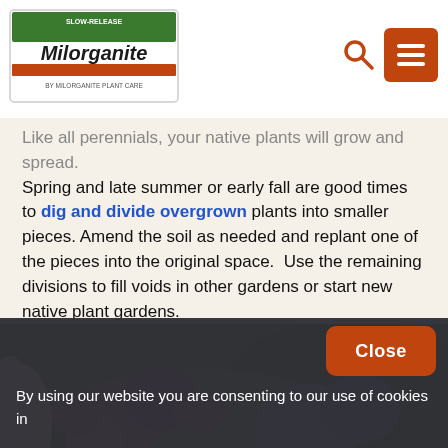Milorganite logo with search and menu navigation icons
Like all perennials, your native plants will grow and spread. Spring and late summer or early fall are good times to dig and divide overgrown plants into smaller pieces. Amend the soil as needed and replant one of the pieces into the original space. Use the remaining divisions to fill voids in other gardens or start new native plant gardens.
[Figure (photo): A lush native plant garden with pink bee balm flowers (monarda), blue aster-like flowers, white flowers, and dense green foliage.]
By using our website you are consenting to our use of cookies in accordance with our cookie policy.